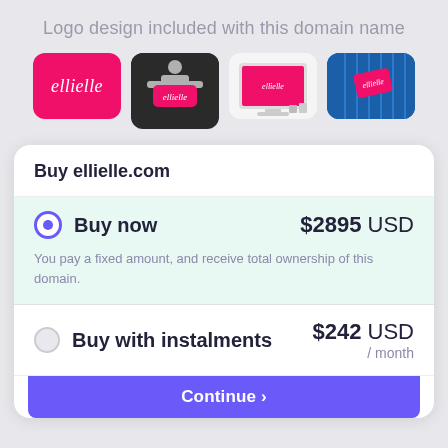Logo design included with this domain name
[Figure (illustration): Four logo mockup thumbnails for 'ellielle': 1) pink background with white script text, 2) person holding pink sign in dark setting, 3) computer monitor on desk showing logo, 4) pink square on blue skyscraper background]
Buy ellielle.com
Buy now  $2895 USD
You pay a fixed amount, and receive total ownership of this domain.
Buy with instalments  $242 USD / month
Continue →